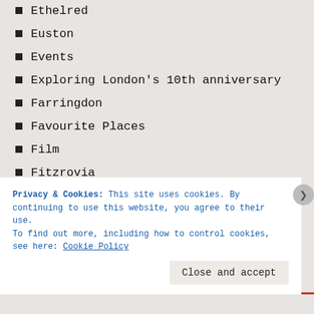Ethelred
Euston
Events
Exploring London's 10th anniversary
Farringdon
Favourite Places
Film
Fitzrovia
Fleet Street
Four unusual London Christmas traditions
Fulham
Gaius Suetonius Paulus
Galleries
Gardens
George Frideric Handel
Privacy & Cookies: This site uses cookies. By continuing to use this website, you agree to their use.
To find out more, including how to control cookies, see here: Cookie Policy
Close and accept